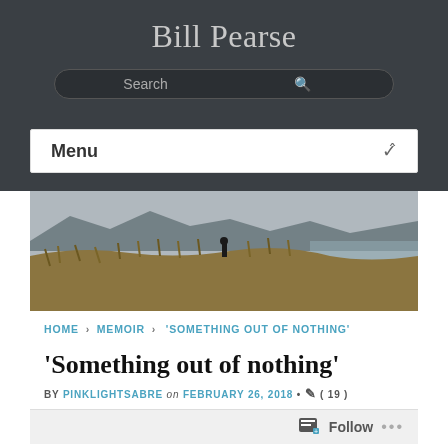Bill Pearse
[Figure (screenshot): Search bar on dark background]
Menu
[Figure (photo): Landscape photo showing a person standing on sand dunes with tall grass, mountains in background and ocean to the right, overcast sky]
HOME › MEMOIR › 'SOMETHING OUT OF NOTHING'
'Something out of nothing'
BY PINKLIGHTSABRE on FEBRUARY 26, 2018 • ( 19 )